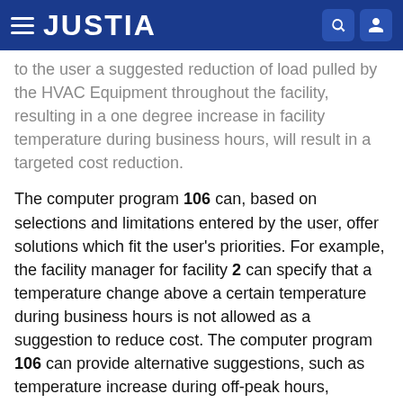JUSTIA
to the user a suggested reduction of load pulled by the HVAC Equipment throughout the facility, resulting in a one degree increase in facility temperature during business hours, will result in a targeted cost reduction.
The computer program 106 can, based on selections and limitations entered by the user, offer solutions which fit the user's priorities. For example, the facility manager for facility 2 can specify that a temperature change above a certain temperature during business hours is not allowed as a suggestion to reduce cost. The computer program 106 can provide alternative suggestions, such as temperature increase during off-peak hours, reduction in floor lighting, etc., to reduce energy costs. The computer program 106 provides the user with enough flexibility to automatically determine, using the data provided by the computer program 106, to reach a targeted cost reduction without changes to